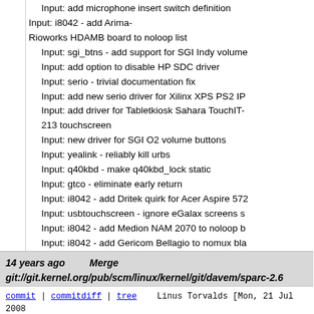Input: add microphone insert switch definition
Input: i8042 - add Arima-Rioworks HDAMB board to noloop list
Input: sgi_btns - add support for SGI Indy volume
Input: add option to disable HP SDC driver
Input: serio - trivial documentation fix
Input: add new serio driver for Xilinx XPS PS2 IP
Input: add driver for Tabletkiosk Sahara TouchIT-213 touchscreen
Input: new driver for SGI O2 volume buttons
Input: yealink - reliably kill urbs
Input: q40kbd - make q40kbd_lock static
Input: gtco - eliminate early return
Input: i8042 - add Dritek quirk for Acer Aspire 572
Input: usbtouchscreen - ignore eGalax screens s
Input: i8042 - add Medion NAM 2070 to noloop b
Input: i8042 - add Gericom Bellagio to nomux bla
Input: i8042 - add Acer Aspire 1360 to nomux bla
Input: hp_sdc_mlc.c - make a struct static
Input: hil_mlc.c - make code static
Input: wistron - generate normal key event if blue
...
14 years ago    Merge git://git.kernel.org/pub/scm/linux/kernel/git/davem/sparc-2.6
commit | commitdiff | tree    Linus Torvalds [Mon, 21 Jul 2008 16:40:26 +0000 (09:40 -0700)]